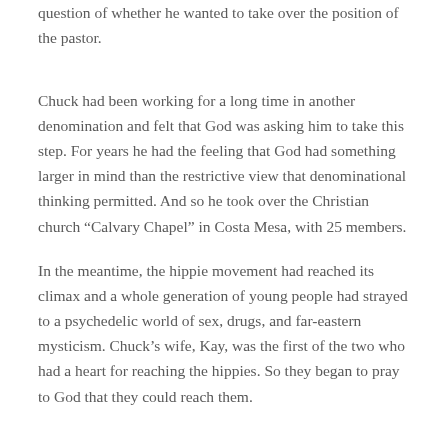question of whether he wanted to take over the position of the pastor.
Chuck had been working for a long time in another denomination and felt that God was asking him to take this step. For years he had the feeling that God had something larger in mind than the restrictive view that denominational thinking permitted. And so he took over the Christian church “Calvary Chapel” in Costa Mesa, with 25 members.
In the meantime, the hippie movement had reached its climax and a whole generation of young people had strayed to a psychedelic world of sex, drugs, and far-eastern mysticism. Chuck’s wife, Kay, was the first of the two who had a heart for reaching the hippies. So they began to pray to God that they could reach them.